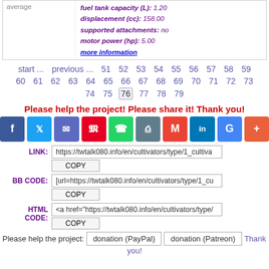average | fuel tank capacity (L): 1.20 | displacement (cc): 158.00 | supported attachments: no | motor power (hp): 5.00 | more information
start ... previous ... 51 52 53 54 55 56 57 58 59 60 61 62 63 64 65 66 67 68 69 70 71 72 73 74 75 76 77 78 79
Please help the project! Please share it! Thank you!
[Figure (infographic): Social share buttons: Facebook, Twitter, bookmark, Pinterest, WhatsApp, print, Gmail, LinkedIn, Google+, more]
LINK: https://twtalk080.info/en/cultivators/type/1_cultiva COPY
BB CODE: [url=https://twtalk080.info/en/cultivators/type/1_cu COPY
HTML CODE: <a href="https://twtalk080.info/en/cultivators/type/ COPY
Please help the project: donation (PayPal) donation (Patreon) Thank you!